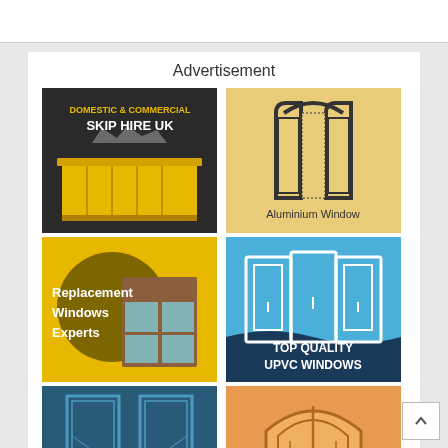Advertisement
[Figure (illustration): Skip Hire UK advertisement: dark background with yellow skip container, text reads 'DOMESTIC & COMMERCIAL SKIP HIRE UK']
[Figure (illustration): Aluminium Window advertisement: beige/yellow background with line drawing of an arched window open, text reads 'Aluminium Window']
[Figure (illustration): Replacement Windows Experts advertisement: yellow and dark olive background with illustration of a window with blue panes, text reads 'Replacement Windows Experts']
[Figure (illustration): Top Quality UPVC Windows advertisement: blue background with white line drawing of double doors/windows, text reads 'TOP QUALITY UPVC WINDOWS']
[Figure (illustration): Blue French doors illustration on teal/dark blue background]
[Figure (illustration): Orange arched window illustration on orange/tan background]